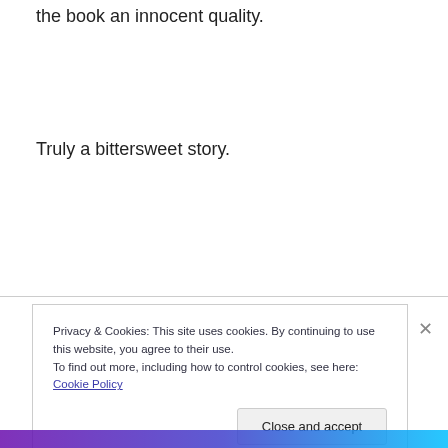the book an innocent quality.
Truly a bittersweet story.
Privacy & Cookies: This site uses cookies. By continuing to use this website, you agree to their use.
To find out more, including how to control cookies, see here: Cookie Policy
Close and accept